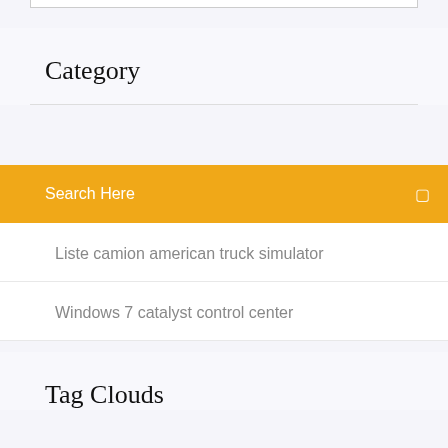Category
Search Here
Liste camion american truck simulator
Windows 7 catalyst control center
Tag Clouds